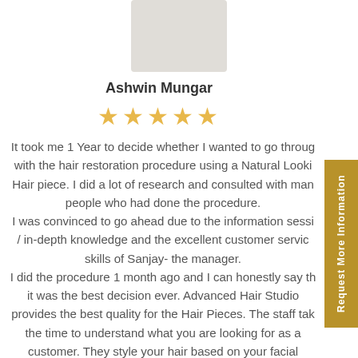[Figure (photo): Profile photo placeholder - grey rectangle]
Ashwin Mungar
[Figure (other): 5 gold stars rating]
It took me 1 Year to decide whether I wanted to go through with the hair restoration procedure using a Natural Looking Hair piece. I did a lot of research and consulted with many people who had done the procedure. I was convinced to go ahead due to the information session / in-depth knowledge and the excellent customer service skills of Sanjay- the manager. I did the procedure 1 month ago and I can honestly say that it was the best decision ever. Advanced Hair Studio provides the best quality for the Hair Pieces. The staff take the time to understand what you are looking for as a customer. They style your hair based on your facial structure and I must truly admit that their stylists are pure Artists! My favourite stylist is Mohamad from Lebanon. He does magic with his hands and I am always thrilled with the
Request More Information